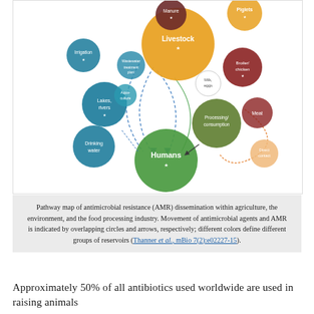[Figure (network-graph): Pathway map of antimicrobial resistance (AMR) dissemination network showing colored overlapping circles representing Livestock, Humans, Piglets, Lakes/rivers, Drinking water, Irrigation, Processing/consumption, Manure, Meat, Broiler/chicken, Direct contact, Wastewater, and other reservoirs. Arrows and overlapping circles indicate movement of antimicrobial agents and AMR between groups.]
Pathway map of antimicrobial resistance (AMR) dissemination within agriculture, the environment, and the food processing industry. Movement of antimicrobial agents and AMR is indicated by overlapping circles and arrows, respectively; different colors define different groups of reservoirs (Thanner et al., mBio 7(2):e02227-15).
Approximately 50% of all antibiotics used worldwide are used in raising animals